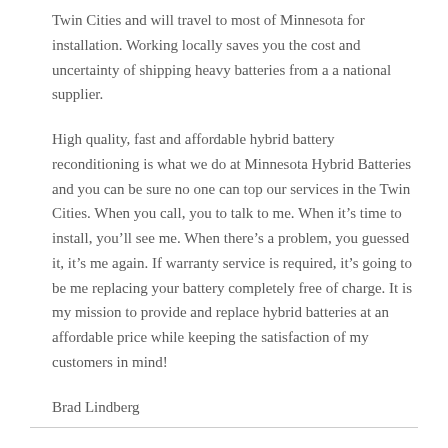Twin Cities and will travel to most of Minnesota for installation. Working locally saves you the cost and uncertainty of shipping heavy batteries from a a national supplier.
High quality, fast and affordable hybrid battery reconditioning is what we do at Minnesota Hybrid Batteries and you can be sure no one can top our services in the Twin Cities. When you call, you to talk to me. When it’s time to install, you’ll see me. When there’s a problem, you guessed it, it’s me again. If warranty service is required, it’s going to be me replacing your battery completely free of charge. It is my mission to provide and replace hybrid batteries at an affordable price while keeping the satisfaction of my customers in mind!
Brad Lindberg